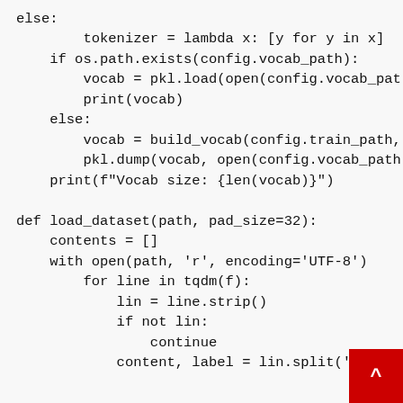else:
        tokenizer = lambda x: [y for y in x]
    if os.path.exists(config.vocab_path):
        vocab = pkl.load(open(config.vocab_pat
        print(vocab)
    else:
        vocab = build_vocab(config.train_path,
        pkl.dump(vocab, open(config.vocab_path
    print(f"Vocab size: {len(vocab)}")

def load_dataset(path, pad_size=32):
    contents = []
    with open(path, 'r', encoding='UTF-8')
        for line in tqdm(f):
            lin = line.strip()
            if not lin:
                continue
            content, label = lin.split('